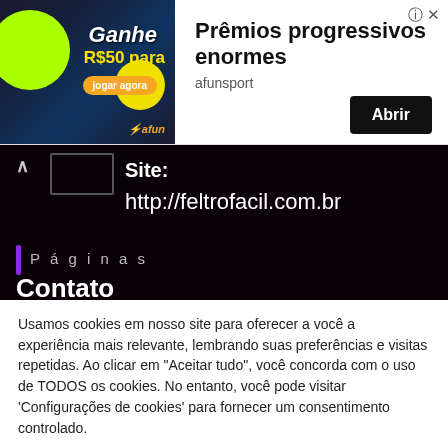[Figure (screenshot): Advertisement banner for afunsport showing 'Ganhe R$50 para jogar agora' with a man holding a phone, with title 'Prêmios progressivos enormes', source 'afunsport', and 'Abrir' button]
Site: http://feltrofacil.com.br
Páginas
Contato
Usamos cookies em nosso site para oferecer a você a experiência mais relevante, lembrando suas preferências e visitas repetidas. Ao clicar em "Aceitar tudo", você concorda com o uso de TODOS os cookies. No entanto, você pode visitar 'Configurações de cookies' para fornecer um consentimento controlado.
Cookie Settings | Aceitar Todos